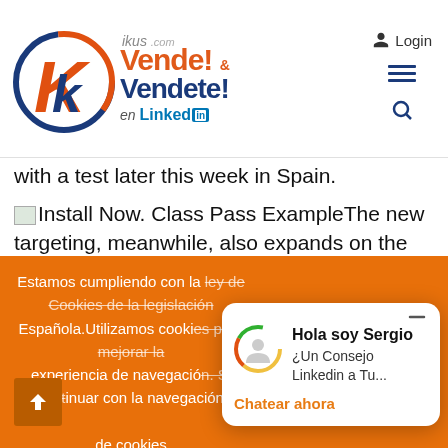[Figure (logo): Kikus.com logo with orange/red K in circle and blue/orange 'Vende! & Vendete! en LinkedIn' text, plus Login icon and hamburger menu]
with a test later this week in Spain.
Install Now. Class Pass ExampleThe new targeting, meanwhile, also expands on the existing connection between Instagram ads and the user data in Facebook (which owns Instagram). Previously, Instagram advertisers could target ads based on age, gender and country. Over time
Estamos cumpliendo con la ley de Cookies de la legislación Española.Utilizamos cooki... experiencia de navegació... continuar con la navegación... de cookies
[Figure (screenshot): Chat popup with Sergio avatar showing 'Hola soy Sergio', '¿Un Consejo Linkedin a Tu...' and 'Chatear ahora' orange link]